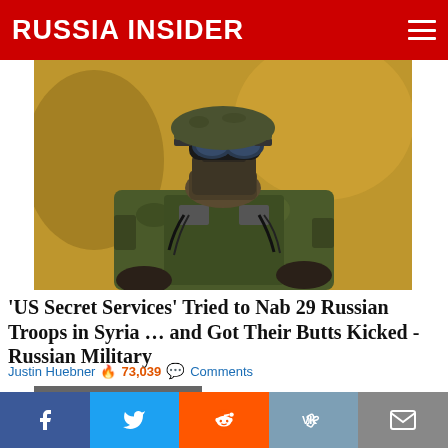RUSSIA INSIDER
[Figure (photo): Close-up of a soldier in camouflage gear, tactical mask, goggles, and military equipment]
'US Secret Services' Tried to Nab 29 Russian Troops in Syria … and Got Their Butts Kicked - Russian Military
Justin Huebner 🔥 73,039 💬 Comments
MAY 9TH, VICTORY DAY
[Figure (photo): Statue of a warrior holding a sword against a blue sky with clouds — Victory Day memorial]
Facebook | Twitter | Reddit | VK | Email